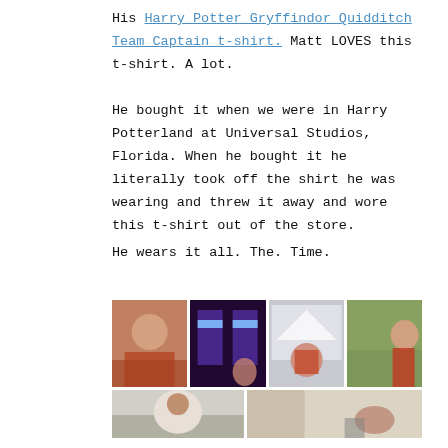His Harry Potter Gryffindor Quidditch Team Captain t-shirt. Matt LOVES this t-shirt. A lot.
He bought it when we were in Harry Potterland at Universal Studios, Florida. When he bought it he literally took off the shirt he was wearing and threw it away and wore this t-shirt out of the store.
He wears it all. The. Time.
[Figure (photo): A collage of 6 photos showing a man wearing a red Harry Potter Gryffindor t-shirt in various locations.]